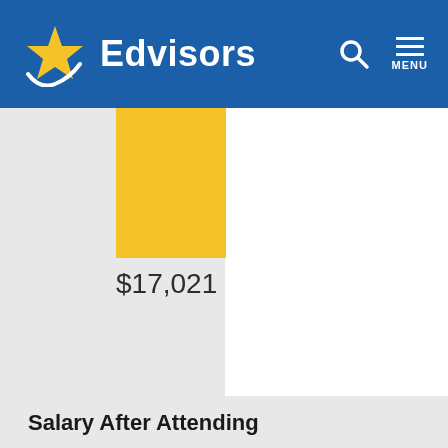Edvisors
[Figure (other): Yellow/gold colored rectangular bar chart element showing a bar]
$17,021
Salary After Attending